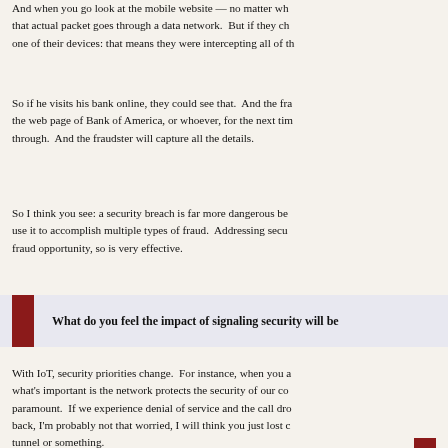And when you go look at the mobile website — no matter wh... that actual packet goes through a data network. But if they ch... one of their devices: that means they were intercepting all of th...
So if he visits his bank online, they could see that. And the fra... the web page of Bank of America, or whoever, for the next tim... through. And the fraudster will capture all the details.
So I think you see: a security breach is far more dangerous be... use it to accomplish multiple types of fraud. Addressing secu... fraud opportunity, so is very effective.
What do you feel the impact of signaling security will be...
With IoT, security priorities change. For instance, when you a... what's important is the network protects the security of our co... paramount. If we experience denial of service and the call dro... back, I'm probably not that worried, I will think you just lost c... tunnel or something.